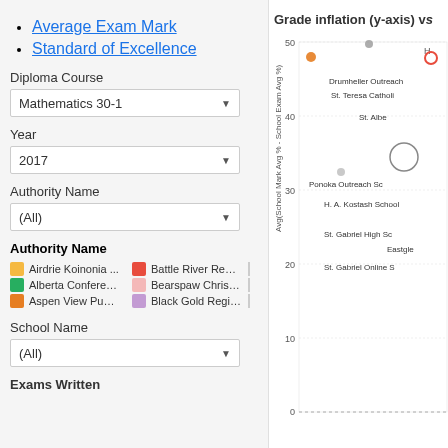Average Exam Mark
Standard of Excellence
Diploma Course
Mathematics 30-1
Year
2017
Authority Name
(All)
Authority Name
Airdrie Koinonia ... | Battle River Regi... | Alberta Conferen... | Bearspaw Christi... | Aspen View Publi... | Black Gold Regio...
School Name
(All)
Exams Written
[Figure (scatter-plot): Scatter plot showing grade inflation (y-axis: Avg(School Mark Avg % - School Exam Avg %)) with labeled school points including Drumheller Outreach, St. Teresa Catholic, St. Alber, Ponoka Outreach School, H.A. Kostash School, St. Gabriel High School, Eastgle, St. Gabriel Online S. Y-axis values shown: 0, 10, 20, 30, 40, 50.]